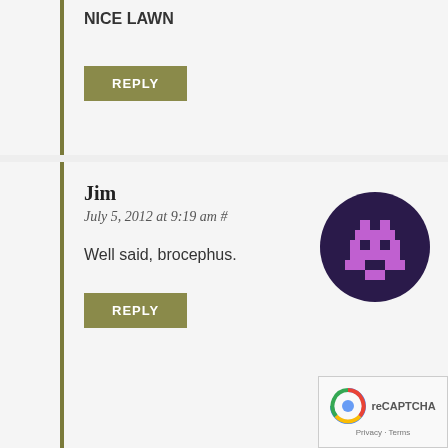NICE LAWN
REPLY
Jim
July 5, 2012 at 9:19 am #
[Figure (illustration): Pixel art avatar of a space invader style character in purple on dark purple/navy circular background]
Well said, brocephus.
REPLY
Doug P
[Figure (photo): Partial circular avatar photo of a person, cropped at bottom of page]
[Figure (other): reCAPTCHA widget overlay in bottom right corner with Privacy - Terms text]